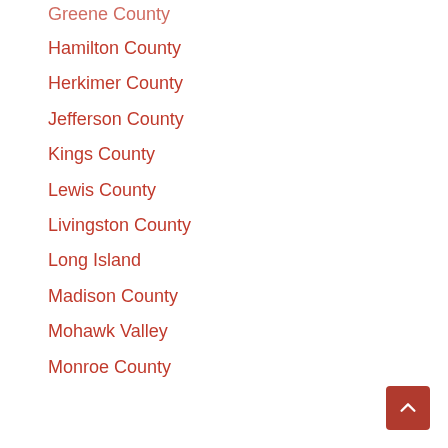Greene County
Hamilton County
Herkimer County
Jefferson County
Kings County
Lewis County
Livingston County
Long Island
Madison County
Mohawk Valley
Monroe County